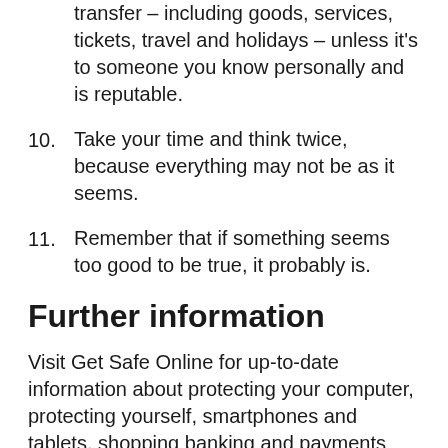transfer – including goods, services, tickets, travel and holidays – unless it's to someone you know personally and is reputable.
10. Take your time and think twice, because everything may not be as it seems.
11. Remember that if something seems too good to be true, it probably is.
Further information
Visit Get Safe Online for up-to-date information about protecting your computer, protecting yourself, smartphones and tablets, shopping banking and payments and lots more. Website: www.getsafeonline.org